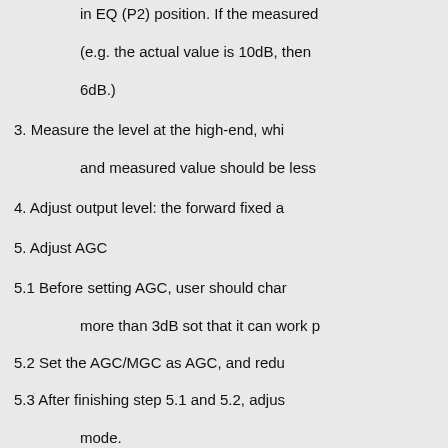in EQ (P2) position. If the measured (e.g. the actual value is 10dB, then 6dB.)
3. Measure the level at the high-end, whi and measured value should be less
4. Adjust output level: the forward fixed a
5. Adjust AGC
5.1 Before setting AGC, user should char more than 3dB sot that it can work p
5.2 Set the AGC/MGC as AGC, and redu
5.3 After finishing step 5.1 and 5.2, adjus mode.
3.4 Check Reversed System
The reversed output port equips fixed att module to adjust the reversed output leve